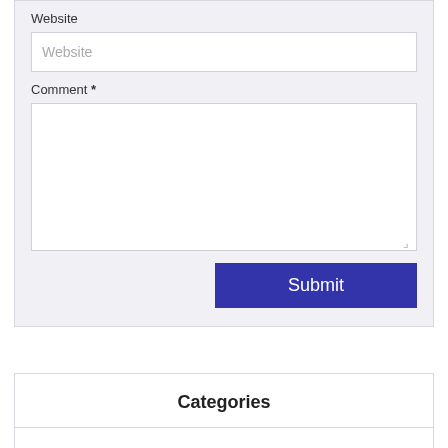Website
[Figure (screenshot): Website text input field with placeholder text 'Website']
Comment *
[Figure (screenshot): Comment textarea input field, empty, with resize handle]
Submit
Categories
All Categories
About us (3)